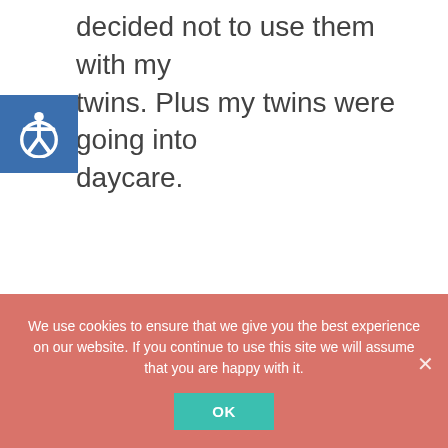decided not to use them with my twins. Plus my twins were going into daycare.
Some of the inconveniences with cloth diapering are:
We use cookies to ensure that we give you the best experience on our website. If you continue to use this site we will assume that you are happy with it.